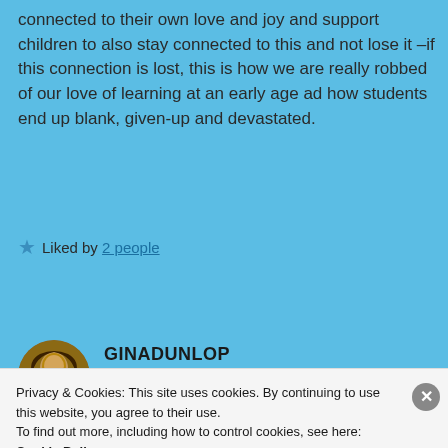connected to their own love and joy and support children to also stay connected to this and not lose it –if this connection is lost, this is how we are really robbed of our love of learning at an early age ad how students end up blank, given-up and devastated.
★ Liked by 2 people
GINADUNLOP
August 20, 2015 at 11:43 am
Privacy & Cookies: This site uses cookies. By continuing to use this website, you agree to their use. To find out more, including how to control cookies, see here: Cookie Policy